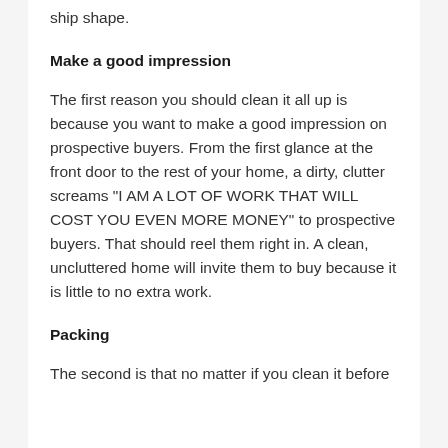ship shape.
Make a good impression
The first reason you should clean it all up is because you want to make a good impression on prospective buyers. From the first glance at the front door to the rest of your home, a dirty, clutter screams "I AM A LOT OF WORK THAT WILL COST YOU EVEN MORE MONEY" to prospective buyers. That should reel them right in. A clean, uncluttered home will invite them to buy because it is little to no extra work.
Packing
The second is that no matter if you clean it before